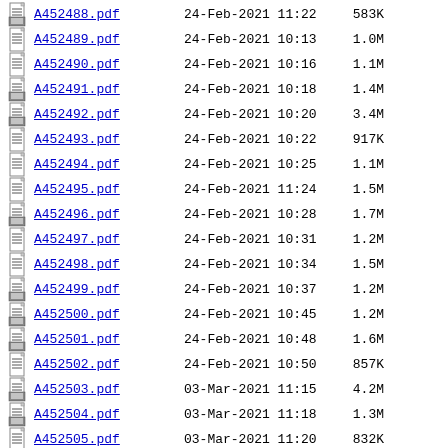A452488.pdf  24-Feb-2021 11:22  583K
A452489.pdf  24-Feb-2021 10:13  1.0M
A452490.pdf  24-Feb-2021 10:16  1.1M
A452491.pdf  24-Feb-2021 10:18  1.4M
A452492.pdf  24-Feb-2021 10:20  3.4M
A452493.pdf  24-Feb-2021 10:22  917K
A452494.pdf  24-Feb-2021 10:25  1.1M
A452495.pdf  24-Feb-2021 11:24  1.5M
A452496.pdf  24-Feb-2021 10:28  1.7M
A452497.pdf  24-Feb-2021 10:31  1.2M
A452498.pdf  24-Feb-2021 10:34  1.5M
A452499.pdf  24-Feb-2021 10:37  1.2M
A452500.pdf  24-Feb-2021 10:45  1.2M
A452501.pdf  24-Feb-2021 10:48  1.6M
A452502.pdf  24-Feb-2021 10:50  857K
A452503.pdf  03-Mar-2021 11:15  4.2M
A452504.pdf  03-Mar-2021 11:18  1.3M
A452505.pdf  03-Mar-2021 11:20  832K